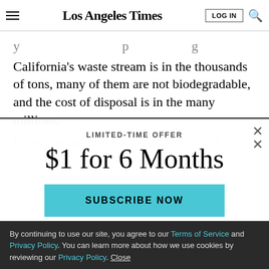Los Angeles Times
California's waste stream is in the thousands of tons, many of them are not biodegradable, and the cost of disposal is in the many millions.
Lonce slogged through Compton Creek with Heal the
LIMITED-TIME OFFER
$1 for 6 Months
SUBSCRIBE NOW
By continuing to use our site, you agree to our Terms of Service and Privacy Policy. You can learn more about how we use cookies by reviewing our Privacy Policy. Close